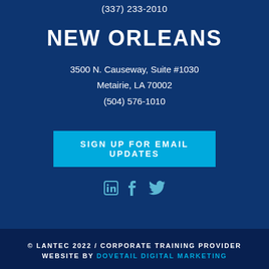(337) 233-2010
NEW ORLEANS
3500 N. Causeway, Suite #1030
Metairie, LA 70002
(504) 576-1010
SIGN UP FOR EMAIL UPDATES
[Figure (illustration): Social media icons: LinkedIn, Facebook, Twitter in teal/cyan color]
© LANTEC 2022 / CORPORATE TRAINING PROVIDER
WEBSITE BY DOVETAIL DIGITAL MARKETING